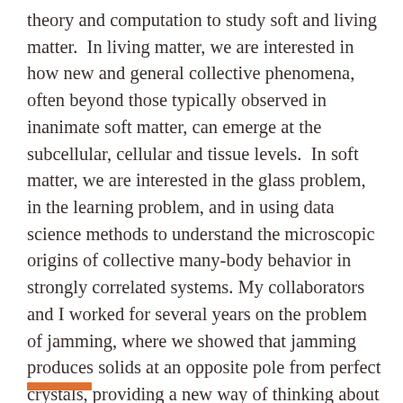theory and computation to study soft and living matter.  In living matter, we are interested in how new and general collective phenomena, often beyond those typically observed in inanimate soft matter, can emerge at the subcellular, cellular and tissue levels.  In soft matter, we are interested in the glass problem, in the learning problem, and in using data science methods to understand the microscopic origins of collective many-body behavior in strongly correlated systems. My collaborators and I worked for several years on the problem of jamming, where we showed that jamming produces solids at an opposite pole from perfect crystals, providing a new way of thinking about the nature of rigidity in disordered solids. The nonequilibrium jamming transition and jammed state thus serve as useful starting points for understanding a broad class of materials.